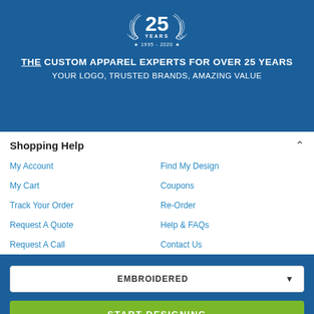[Figure (logo): 25 Years anniversary badge with laurel wreath, star 1995-2020 star, white on blue background]
THE CUSTOM APPAREL EXPERTS FOR OVER 25 YEARS
YOUR LOGO, TRUSTED BRANDS, AMAZING VALUE
Shopping Help
My Account
Find My Design
My Cart
Coupons
Track Your Order
Re-Order
Request A Quote
Help & FAQs
Request A Call
Contact Us
EMBROIDERED
START DESIGNING